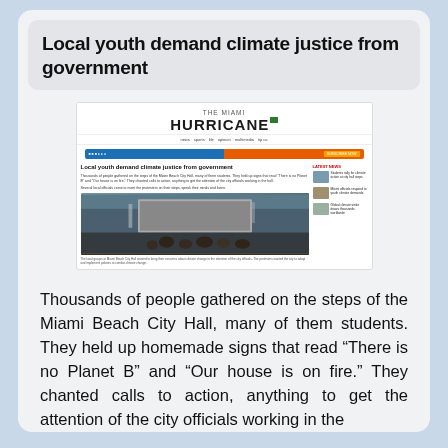Local youth demand climate justice from government
[Figure (screenshot): Screenshot of The Miami Hurricane newspaper website showing the article 'Local youth demand climate justice from government' with a crowd protest photo]
Thousands of people gathered on the steps of the Miami Beach City Hall, many of them students. They held up homemade signs that read “There is no Planet B” and “Our house is on fire.” They chanted calls to action, anything to get the attention of the city officials working in the